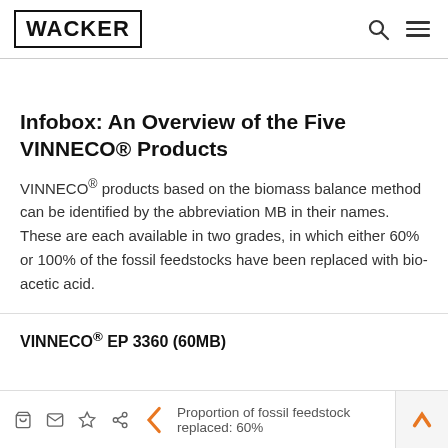WACKER
Infobox: An Overview of the Five VINNECO® Products
VINNECO® products based on the biomass balance method can be identified by the abbreviation MB in their names. These are each available in two grades, in which either 60% or 100% of the fossil feedstocks have been replaced with bio-acetic acid.
VINNECO® EP 3360 (60MB)
Proportion of fossil feedstock replaced: 60%